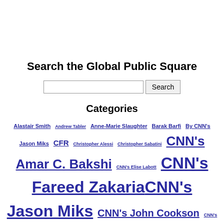Search the Global Public Square
Categories
Alastair Smith Andrew Tabler Anne-Marie Slaughter Barak Barfi By CNN's Jason Miks CFR Christopher Alessi Christopher Sabatini CNN's Amar C. Bakshi CNN's Elise Labott CNN's Fareed Zakaria CNN's Jason Miks CNN's John Cookson CNN's Omar Kasrawi CNN's Ravi Agrawal CNN's Tim Lister CNN Editors Ed Husain Elliott Abrams Geneive Abdo Global Post Isobel Coleman James M. Lindsay John Kao Joseph Nye Juan Cole Kenneth Rogoff Martin Feldstein Meir Javedanfar Micah